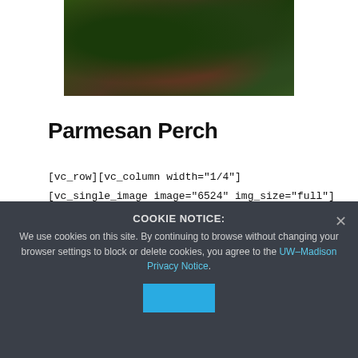[Figure (photo): Food photo showing dark leafy greens (likely sautéed spinach or kale) with meat/fish on a plate, top portion of the image]
Parmesan Perch
[vc_row][vc_column width="1/4"]
[vc_single_image image="6524" img_size="full"]
[vc_column_text] Serves 6 [/vc_column_text]
[/vc_column][vc_column width="3/4"]
[vc_column_text] Ingredients: 2 lbs. perch fillets 2 eggs 3 C saltine crackers 1 T pepper
COOKIE NOTICE:
We use cookies on this site. By continuing to browse without changing your browser settings to block or delete cookies, you agree to the UW–Madison Privacy Notice.